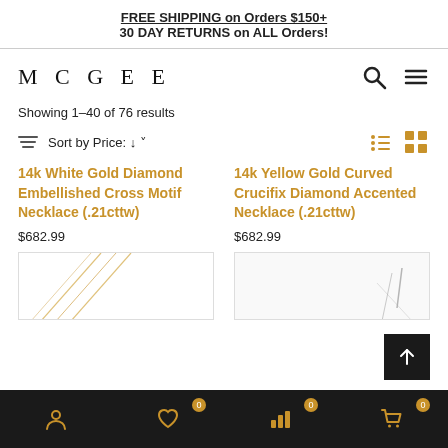FREE SHIPPING on Orders $150+
30 DAY RETURNS on ALL Orders!
MCGEE
Showing 1–40 of 76 results
Sort by Price: ↓
14k White Gold Diamond Embellished Cross Motif Necklace (.21cttw)
$682.99
14k Yellow Gold Curved Crucifix Diamond Accented Necklace (.21cttw)
$682.99
[Figure (photo): Product thumbnail for 14k White Gold Diamond Embellished Cross Motif Necklace]
[Figure (photo): Product thumbnail for 14k Yellow Gold Curved Crucifix Diamond Accented Necklace]
Bottom navigation bar with account, wishlist (0), analytics (0), and cart (0) icons